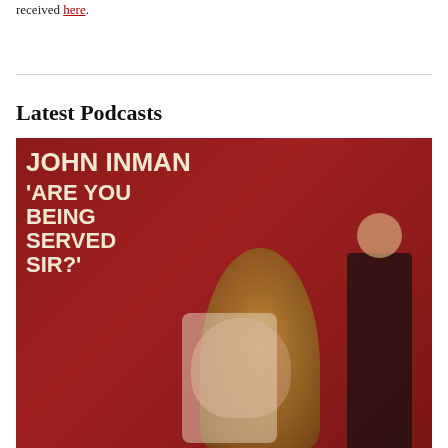received here.
Latest Podcasts
[Figure (photo): A retro promotional image with a dark red background showing two men — one seated in a large wicker chair and one standing — with bold white text reading 'JOHN INMAN' and ''ARE YOU BEING SERVED SIR?''.]